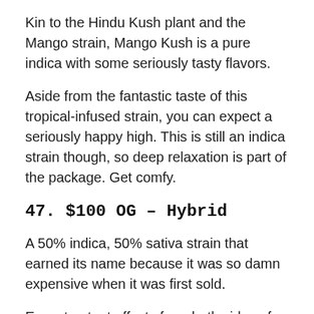Kin to the Hindu Kush plant and the Mango strain, Mango Kush is a pure indica with some seriously tasty flavors.
Aside from the fantastic taste of this tropical-infused strain, you can expect a seriously happy high. This is still an indica strain though, so deep relaxation is part of the package. Get comfy.
47. $100 OG – Hybrid
A 50% indica, 50% sativa strain that earned its name because it was so damn expensive when it was first sold.
Expect potent effects from both sides of this strain. Users report a strong, full-body high as well as a powerful cerebral high. It will hit you